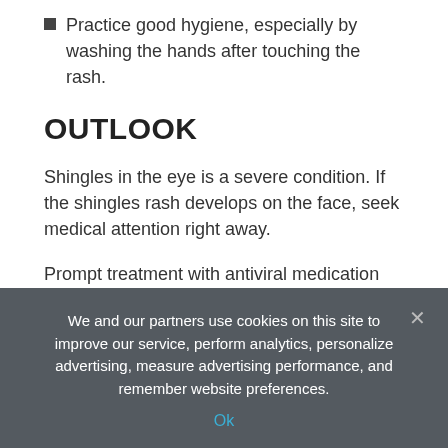Practice good hygiene, especially by washing the hands after touching the rash.
OUTLOOK
Shingles in the eye is a severe condition. If the shingles rash develops on the face, seek medical attention right away.
Prompt treatment with antiviral medication can help to relieve symptoms and prevent complications.
Eye-related complications of shingles can be very serious. Anyone who suspects that they have shingles in the eye should receive urgent medical attention.
Source: Read Full Article
We and our partners use cookies on this site to improve our service, perform analytics, personalize advertising, measure advertising performance, and remember website preferences.
Ok